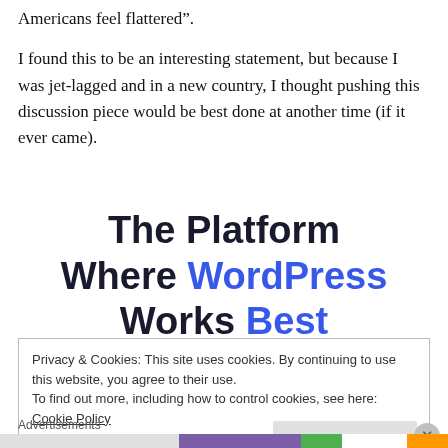Americans feel flattered”.
I found this to be an interesting statement, but because I was jet-lagged and in a new country, I thought pushing this discussion piece would be best done at another time (if it ever came).
[Figure (infographic): Advertisement banner reading 'The Platform Where WordPress Works Best' with 'WordPress' and 'Best' in blue.]
Privacy & Cookies: This site uses cookies. By continuing to use this website, you agree to their use.
To find out more, including how to control cookies, see here: Cookie Policy
Close and accept
Advertisements